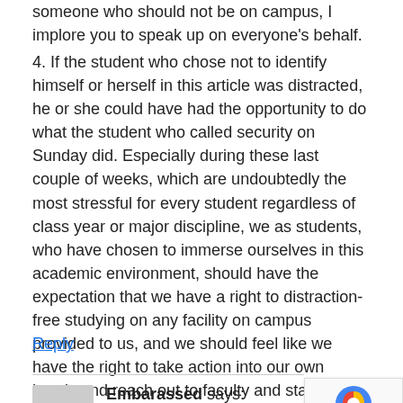someone who should not be on campus, I implore you to speak up on everyone's behalf.
4. If the student who chose not to identify himself or herself in this article was distracted, he or she could have had the opportunity to do what the student who called security on Sunday did. Especially during these last couple of weeks, which are undoubtedly the most stressful for every student regardless of class year or major discipline, we as students, who have chosen to immerse ourselves in this academic environment, should have the expectation that we have a right to distraction-free studying on any facility on campus provided to us, and we should feel like we have the right to take action into our own hands and reach out to faculty and staff if we do not feel like these expectations are being met.
Reply
Embarassed says:
May 3, 2014 at 12:45 pm